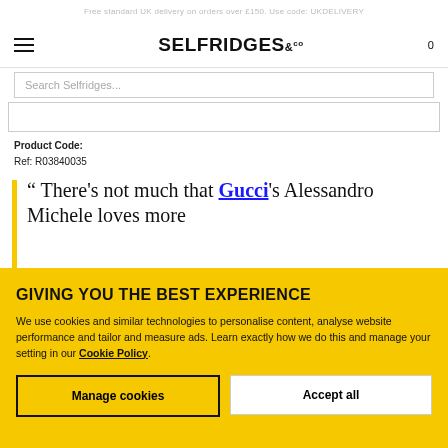Free standard UK delivery on orders over £150. Use code: UKDELIVERY
[Figure (logo): Selfridges & Co logo with hamburger menu and cart icon]
Search Selfridges...
Product Code:
Ref: R03840035
“ There’s not much that Gucci’s Alessandro Michele loves more
GIVING YOU THE BEST EXPERIENCE
We use cookies and similar technologies to personalise content, analyse website performance and tailor and measure ads. Learn exactly how we do this and manage your setting in our Cookie Policy.
Manage cookies
Accept all